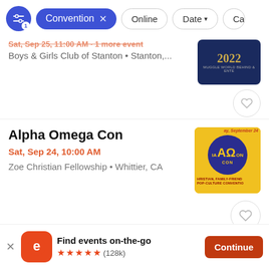[Figure (screenshot): Filter bar with a blue settings icon with badge '1', a blue 'Convention x' chip, and outline chips for 'Online', 'Date v', 'Ca...']
Sat, Sep 24, 11:00 AM · 1 more event
Boys & Girls Club of Stanton • Stanton,...
[Figure (photo): Dark blue event thumbnail showing '2022' in gold text with 'MUGGLE WORLD BEHIND & ENTE' text]
Alpha Omega Con
Sat, Sep 24, 10:00 AM
Zoe Christian Fellowship • Whittier, CA
[Figure (logo): Alpha Omega Con logo: yellow background with blue circle, AΩ in gold letters, 'CON' below, 'CHRISTIAN, FAMILY-FRIEND POP-CULTURE CONVENTIO' text]
Find events on-the-go
★★★★★ (128k)
Continue